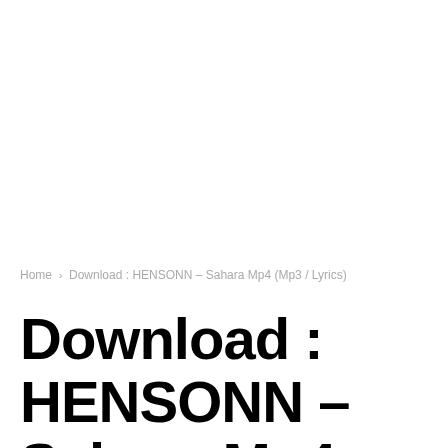Home > Download : HENSONN – Sahara Mp4 (Mp3 / Lyrics)
Download : HENSONN – Sahara Mp4 (Mp3 / Sahara Mp4 (Mp3 /